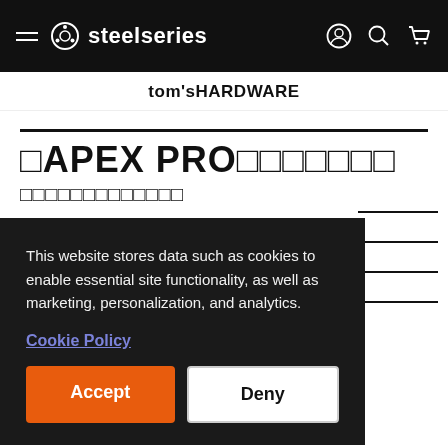SteelSeries navigation bar with hamburger menu, logo, and icons
tom'sHARDWARE
APEX PRO
This website stores data such as cookies to enable essential site functionality, as well as marketing, personalization, and analytics.
Cookie Policy
Accept
Deny